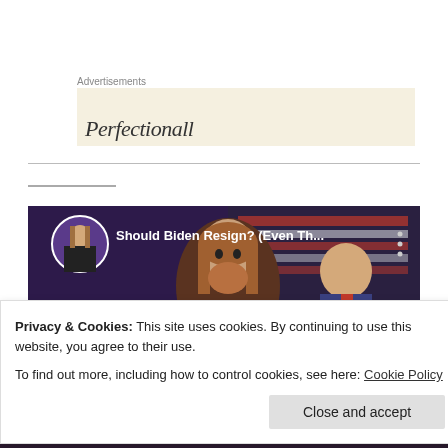Advertisements
[Figure (other): Advertisement box with beige/cream background showing partial italic text]
[Figure (screenshot): YouTube video thumbnail showing 'Should Biden Resign? (Even Th...' with a man with long reddish hair and beard in the foreground and Biden bowing his head in the background, with an American flag. There is a circular avatar of a long-haired man in the top left.]
Privacy & Cookies: This site uses cookies. By continuing to use this website, you agree to their use.
To find out more, including how to control cookies, see here: Cookie Policy
Close and accept